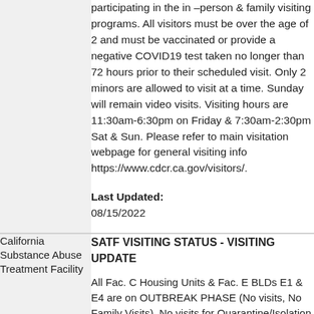participating in the in –person & family visiting programs. All visitors must be over the age of 2 and must be vaccinated or provide a negative COVID19 test taken no longer than 72 hours prior to their scheduled visit. Only 2 minors are allowed to visit at a time. Sunday will remain video visits. Visiting hours are 11:30am-6:30pm on Friday & 7:30am-2:30pm Sat & Sun. Please refer to main visitation webpage for general visiting info https://www.cdcr.ca.gov/visitors/.
Last Updated: 08/15/2022
California Substance Abuse Treatment Facility
SATF VISITING STATUS - VISITING UPDATE
All Fac. C Housing Units & Fac. E BLDs E1 & E4 are on OUTBREAK PHASE (No visits, No Family Visits). No visits for Quarantine/Isolation